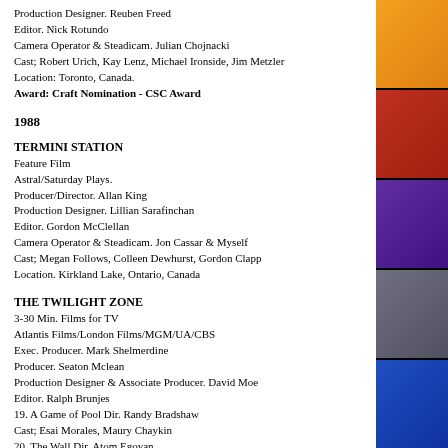Production Designer. Reuben Freed
Editor. Nick Rotundo
Camera Operator & Steadicam. Julian Chojnacki
Cast; Robert Urich, Kay Lenz, Michael Ironside, Jim Metzler
Location: Toronto, Canada.
Award: Craft Nomination - CSC Award
1988
TERMINI STATION
Feature Film
Astral/Saturday Plays.
Producer/Director. Allan King
Production Designer. Lillian Sarafinchan
Editor. Gordon McClellan
Camera Operator & Steadicam. Jon Cassar & Myself
Cast; Megan Follows, Colleen Dewhurst, Gordon Clapp
Location. Kirkland Lake, Ontario, Canada
THE TWILIGHT ZONE
3-30 Min. Films for TV
Atlantis Films/London Films/MGM/UA/CBS
Exec. Producer. Mark Shelmerdine
Producer. Seaton Mclean
Production Designer & Associate Producer. David Moe
Editor. Ralph Brunjes
19. A Game of Pool Dir. Randy Bradshaw
Cast; Esai Morales, Maury Chaykin
20. The Wall Dir. Atom Egoyan
Cast; John Beck, George Robertson
21. Father and Son Game Dir. Randy Bradshaw
Cast; Ed Marinaro, Eugene Glazer
Location: Toronto, Canada.
THE CAMPBELLS
12-30 Min. films for TV
Settler Films/CTV/Scotish Television
Exec. Producer. John Delmage
Producers. Patrick Doyle & Nellie Zucker
Production Designer. Seamus Flannery